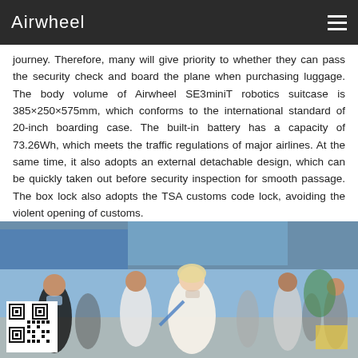Airwheel
journey. Therefore, many will give priority to whether they can pass the security check and board the plane when purchasing luggage. The body volume of Airwheel SE3miniT robotics suitcase is 385×250×575mm, which conforms to the international standard of 20-inch boarding case. The built-in battery has a capacity of 73.26Wh, which meets the traffic regulations of major airlines. At the same time, it also adopts an external detachable design, which can be quickly taken out before security inspection for smooth passage. The box lock also adopts the TSA customs code lock, avoiding the violent opening of customs.
[Figure (photo): Crowd of people walking through what appears to be an exhibition hall or airport, with a woman in a white dress prominently featured in the center. A QR code is visible in the lower left corner of the image.]